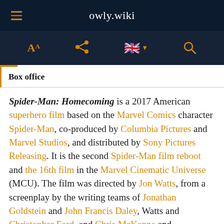owly.wiki
Box office
Spider-Man: Homecoming is a 2017 American superhero film based on the Marvel Comics character Spider-Man, co-produced by Columbia Pictures and Marvel Studios, and distributed by Sony Pictures Releasing. It is the second Spider-Man film reboot and the 16th film in the Marvel Cinematic Universe (MCU). The film was directed by Jon Watts, from a screenplay by the writing teams of Jonathan Goldstein and John Francis Daley, Watts and Christopher Ford, and Chris McKenna and